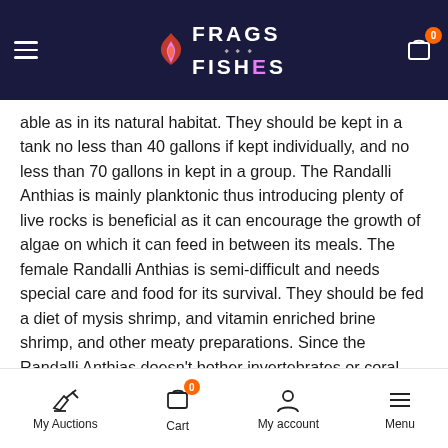Frags to Fishes (website header navigation bar)
able as in its natural habitat. They should be kept in a tank no less than 40 gallons if kept individually, and no less than 70 gallons in kept in a group. The Randalli Anthias is mainly planktonic thus introducing plenty of live rocks is beneficial as it can encourage the growth of algae on which it can feed in between its meals. The female Randalli Anthias is semi-difficult and needs special care and food for its survival. They should be fed a diet of mysis shrimp, and vitamin enriched brine shrimp, and other meaty preparations. Since the Randalli Anthias doesn't bother invertebrates or coral present in the tank, it makes a good reef dweller. The female Randalli Anthias should never be housed with larger and more active, aggressive Anthias species. The Randalli Anthias is peaceful in nature but may become belligerent towards the same kind of species. The Randalli Anthias is a beautiful fish to keep, and with its stunning color, it makes a captivating addition to any aquarium. The Randalli Anthias is generally...
My Auctions | Cart | My account | Menu